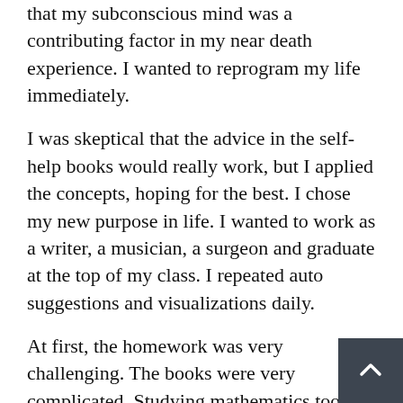that my subconscious mind was a contributing factor in my near death experience. I wanted to reprogram my life immediately.
I was skeptical that the advice in the self-help books would really work, but I applied the concepts, hoping for the best. I chose my new purpose in life. I wanted to work as a writer, a musician, a surgeon and graduate at the top of my class. I repeated auto suggestions and visualizations daily.
At first, the homework was very challenging. The books were very complicated. Studying mathematics too